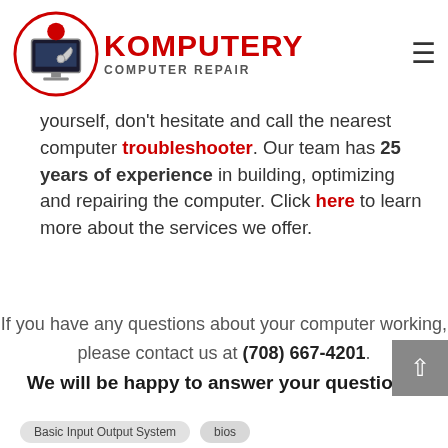Komputery Computer Repair — navigation header with logo
troubleshooter. Our team has 25 years of experience in building, optimizing and repairing the computer. Click here to learn more about the services we offer.
If you have any questions about your computer working, please contact us at (708) 667-4201. We will be happy to answer your questions!
Basic Input Output System  bios